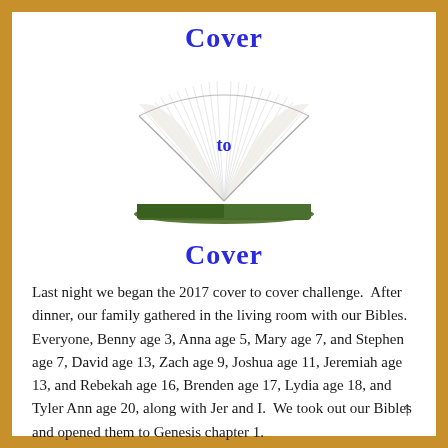Cover
[Figure (illustration): An open book with pages fanned out, viewed from the front, with a green cover visible at the bottom. The word 'to' appears in blue text in the center of the fanned pages.]
Cover
Last night we began the 2017 cover to cover challenge.  After dinner, our family gathered in the living room with our Bibles.  Everyone, Benny age 3, Anna age 5, Mary age 7, and Stephen age 7, David age 13, Zach age 9, Joshua age 11, Jeremiah age 13, and Rebekah age 16, Brenden age 17, Lydia age 18, and Tyler Ann age 20, along with Jer and I.  We took out our Bibles and opened them to Genesis chapter 1.